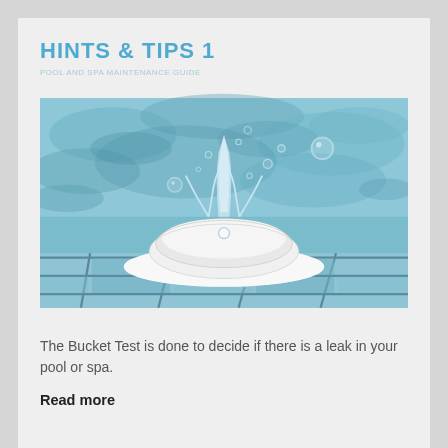HINTS & TIPS 1
[Figure (photo): Close-up photo of a white pool/spa chemical tablet dissolving in blue water with water droplets splashing around it, placed on pool tiles]
The Bucket Test is done to decide if there is a leak in your pool or spa.
Read more